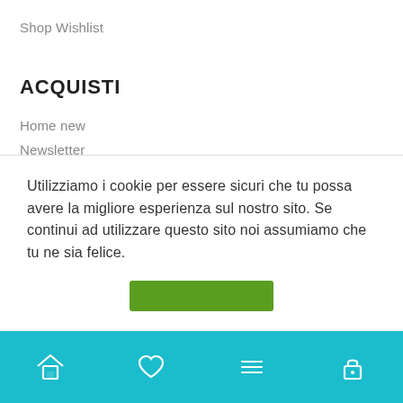Shop
Wishlist
ACQUISTI
Home new
Newsletter
Privacy Policy
Spedizioni e consegne
Termini e Condizioni
Wishlist
ACCOUNT
Utilizziamo i cookie per essere sicuri che tu possa avere la migliore esperienza sul nostro sito. Se continui ad utilizzare questo sito noi assumiamo che tu ne sia felice.